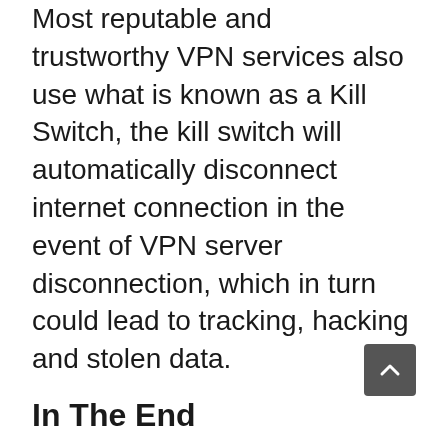Most reputable and trustworthy VPN services also use what is known as a Kill Switch, the kill switch will automatically disconnect internet connection in the event of VPN server disconnection, which in turn could lead to tracking, hacking and stolen data.
In The End
So while you can plainly see that both Antivirus Software and VPN service protect you, they do it in different ways. Antivirus Software is better at protecting you from online threats, and while the VPN service is better suited to protect your data information and